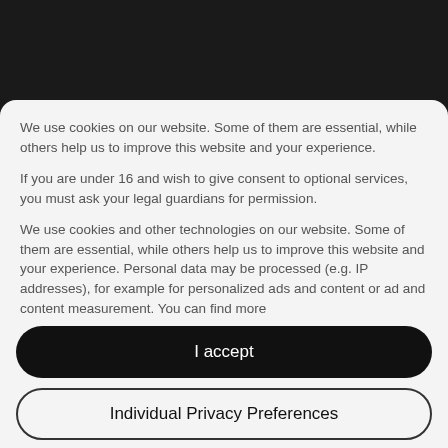[Figure (screenshot): Dark top bar of a website partially visible behind a cookie consent modal overlay]
We use cookies on our website. Some of them are essential, while others help us to improve this website and your experience.
If you are under 16 and wish to give consent to optional services, you must ask your legal guardians for permission.
We use cookies and other technologies on our website. Some of them are essential, while others help us to improve this website and your experience. Personal data may be processed (e.g. IP addresses), for example for personalized ads and content or ad and content measurement. You can find more
I accept
Individual Privacy Preferences